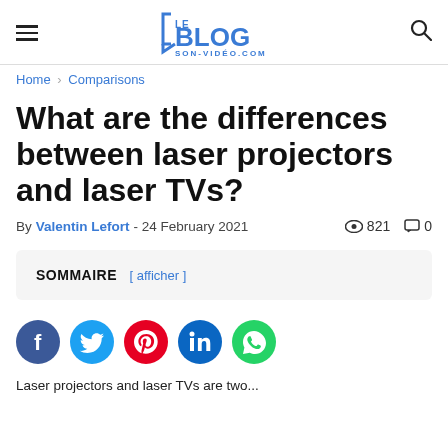Le Blog Son-Vidéo.com
Home › Comparisons
What are the differences between laser projectors and laser TVs?
By Valentin Lefort - 24 February 2021  👁 821  💬 0
SOMMAIRE [ afficher ]
[Figure (infographic): Social share icons: Facebook, Twitter, Pinterest, LinkedIn, WhatsApp]
Laser projectors and laser TVs are two...